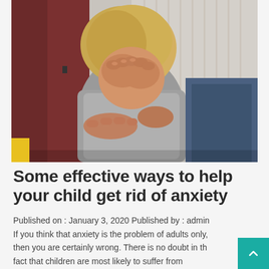[Figure (photo): A young blonde child covering their face with their hands in distress, being comforted by an adult whose hands are visible around the child. The child wears a grey shirt; the adult wears a maroon/dark red jacket. Background is light grey/white.]
Some effective ways to help your child get rid of anxiety
Published on : January 3, 2020 Published by : admin If you think that anxiety is the problem of adults only, then you are certainly wrong. There is no doubt in the fact that children are most likely to suffer from